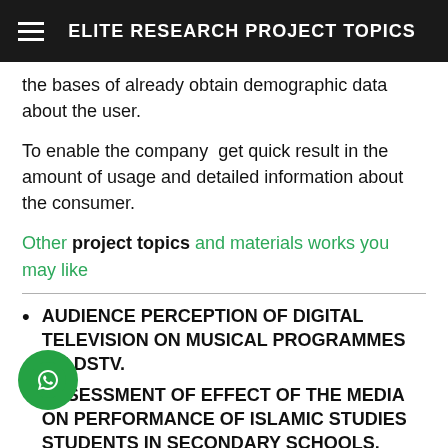ELITE RESEARCH PROJECT TOPICS
the bases of already obtain demographic data about the user.
To enable the company  get quick result in the amount of usage and detailed information about the consumer.
Other project topics and materials works you may like
AUDIENCE PERCEPTION OF DIGITAL TELEVISION ON MUSICAL PROGRAMMES ON DSTV.
ASSESSMENT OF EFFECT OF THE MEDIA ON PERFORMANCE OF ISLAMIC STUDIES STUDENTS IN SECONDARY SCHOOLS.